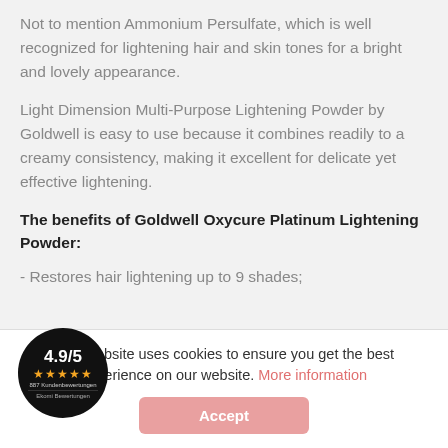Not to mention Ammonium Persulfate, which is well recognized for lightening hair and skin tones for a bright and lovely appearance.
Light Dimension Multi-Purpose Lightening Powder by Goldwell is easy to use because it combines readily to a creamy consistency, making it excellent for delicate yet effective lightening.
The benefits of Goldwell Oxycure Platinum Lightening Powder:
- Restores hair lightening up to 9 shades;
This website uses cookies to ensure you get the best experience on our website. More information
[Figure (other): Cookie consent bar with Accept button and 4.9/5 star rating badge]